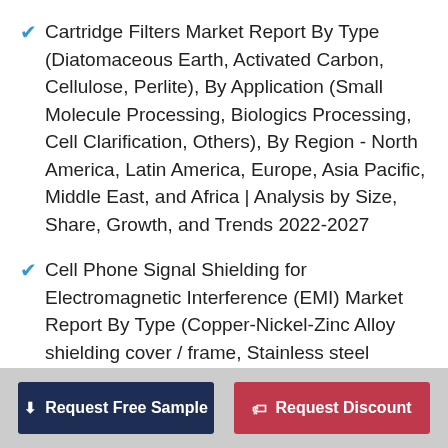Cartridge Filters Market Report By Type (Diatomaceous Earth, Activated Carbon, Cellulose, Perlite), By Application (Small Molecule Processing, Biologics Processing, Cell Clarification, Others), By Region - North America, Latin America, Europe, Asia Pacific, Middle East, and Africa | Analysis by Size, Share, Growth, and Trends 2022-2027
Cell Phone Signal Shielding for Electromagnetic Interference (EMI) Market Report By Type (Copper-Nickel-Zinc Alloy shielding cover / frame, Stainless steel shielding cover/frame, Nickel Silver shielding cover/frame, SPTE/Tin plated mild steel cover/ frame), By Application (Most of cell phones, Cheaper cell phones), By Region - North America, Latin America, Europe, Asia Pacific, Middle East, and Africa | Analysis by Size, Share,
Request Free Sample   Request Discount